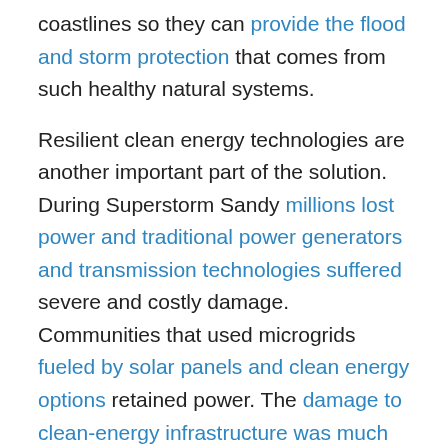coastlines so they can provide the flood and storm protection that comes from such healthy natural systems.
Resilient clean energy technologies are another important part of the solution. During Superstorm Sandy millions lost power and traditional power generators and transmission technologies suffered severe and costly damage. Communities that used microgrids fueled by solar panels and clean energy options retained power. The damage to clean-energy infrastructure was much less than that to its fossil-fuel-powered counterparts. As Superstorm Sandy reminds us, clean energy reduces climate changing